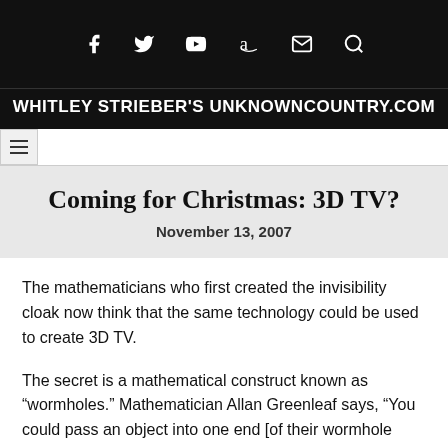WHITLEY STRIEBER'S UNKNOWNCOUNTRY.COM
Coming for Christmas: 3D TV?
November 13, 2007
The mathematicians who first created the invisibility cloak now think that the same technology could be used to create 3D TV.
The secret is a mathematical construct known as “wormholes.” Mathematician Allan Greenleaf says, “You could pass an object into one end [of their wormhole tube], watch it disappear as it traveled the length of the